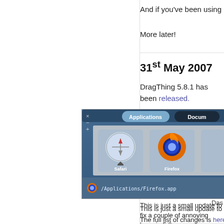And if you've been using DragThing since then without paying... W
More later!
31st May 2007
DragThing 5.8.1 has been released.
[Figure (screenshot): Screenshot of DragThing application showing Applications and Documents tabs, with Safari and Firefox app icons in a dock, and /Applications/Firefox.app path shown at bottom]
Das
This is just a small update to fix a couple of annoying bugs in 5.8, "Dashboard", as well as a new option to lock docks firmly in positi
The full list of changes is here. Enjoy!